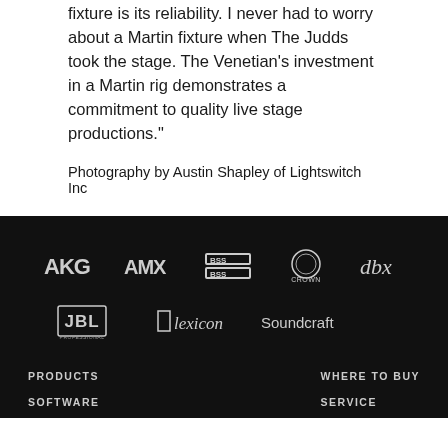fixture is its reliability. I never had to worry about a Martin fixture when The Judds took the stage. The Venetian's investment in a Martin rig demonstrates a commitment to quality live stage productions."
Photography by Austin Shapley of Lightswitch Inc
[Figure (logo): Row of brand logos on black background: AKG, AMX, BSS, Crown, dbx]
[Figure (logo): Row of brand logos on black background: JBL, lexicon, Soundcraft]
PRODUCTS
SOFTWARE
WHERE TO BUY
SERVICE